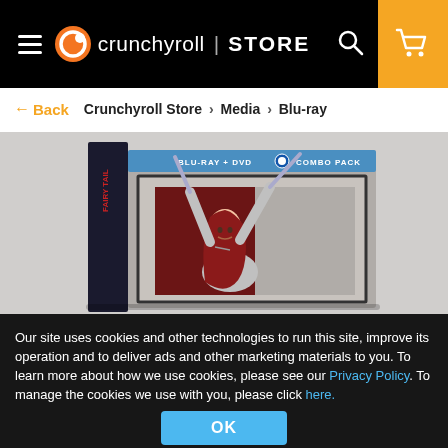Crunchyroll | STORE
← Back   Crunchyroll Store > Media > Blu-ray
[Figure (photo): Fairy Tail Blu-ray + DVD Combo Pack product box featuring an anime character (Erza Scarlet) in armor holding swords above her head, with a red background panel]
Our site uses cookies and other technologies to run this site, improve its operation and to deliver ads and other marketing materials to you. To learn more about how we use cookies, please see our Privacy Policy. To manage the cookies we use with you, please click here.
OK